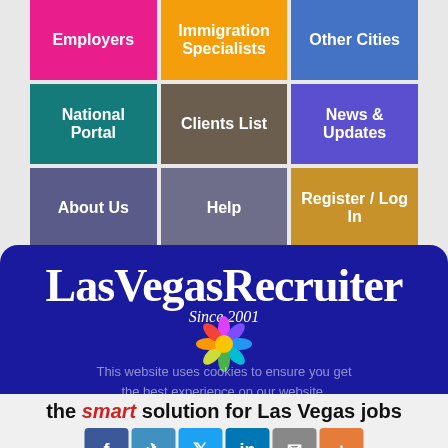[Figure (screenshot): Navigation menu grid with 9 colored cells: Employers (pink), Immigration Specialists (orange), Other Cities (blue), National Portal (teal), Clients List (brown), News & Updates (purple), About Us (slate), Help (slate), Register / Log In (gold)]
LasVegasRecruiter
Since 2001
This website uses cookies to ensure you get the best experience on our website.
the smart solution for Las Vegas jobs